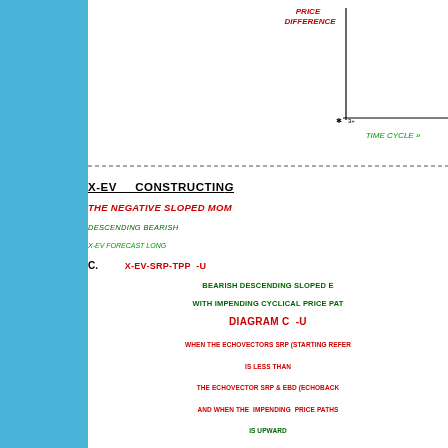[Figure (other): Partial diagram showing top of an echovector chart with PRICE DIFFERENCE on y-axis and TIME CYCLE on x-axis, partially cropped]
X-EV   CONSTRUCTING
THE NEGATIVE SLOPED MOM...
DESCENDING BEARISH
X-EV FORECAST LONG
C.   X-EV-SRP-TPP  -U...
BEARISH DESCENDING SLOPED E...
WITH IMPENDING CYCLICAL PRICE PAT...
DIAGRAM C  -U...
WHEN THE ECHOVECTORS SRP (STARTING REFER... IS LESS THAN THE ECHOVECTOR SRP & EBD (ECHOBACK... AND WHEN THE IMPENDING PRICE PATHS... IS UPWARD
CONSTRUCTING THE ECHOVECTORS
EBD  B
EV-SRP-EBD-TPP
ECHOVECTOR STARTING REFERENCE POINT